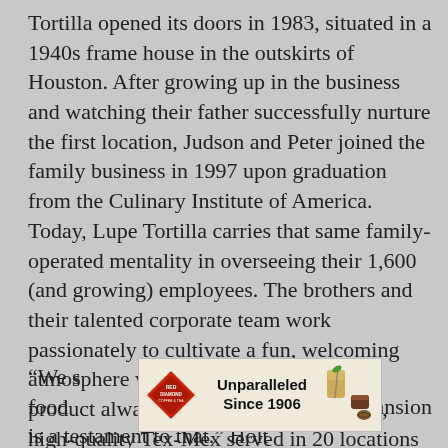Tortilla opened its doors in 1983, situated in a 1940s frame house in the outskirts of Houston. After growing up in the business and watching their father successfully nurture the first location, Judson and Peter joined the family business in 1997 upon graduation from the Culinary Institute of America. Today, Lupe Tortilla carries that same family-operated mentality in overseeing their 1,600 (and growing) employees. The brothers and their talented corporate team work passionately to cultivate a fun, welcoming atmosphere where customers, staff and product always come first with the fresh, high-quality Tex-Mex served in 20 locations throughout Texas
“We s[...] lity food [...] ars. Our expansion is a testament to that.” Holt
[Figure (other): Red Diamond Coffee & Tea advertisement banner reading 'Unparalleled Since 1906' with a logo, iced tea glass, and coffee bean images]